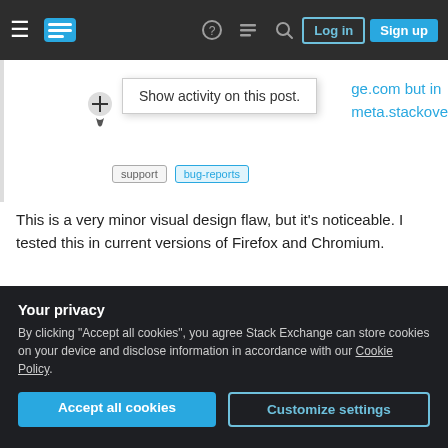Stack Exchange navigation bar with Log in and Sign up buttons
[Figure (screenshot): Screenshot showing a tooltip 'Show activity on this post.' with a cursor icon, partial URL text showing 'ge.com but in meta.stackove', and tag pills 'support' and 'bug-reports']
This is a very minor visual design flaw, but it's noticeable. I tested this in current versions of Firefox and Chromium.
Reason
In the above paragraph, I put "button" in quotation marks, because the "button" for "Show activity on
Your privacy
By clicking "Accept all cookies", you agree Stack Exchange can store cookies on your device and disclose information in accordance with our Cookie Policy.
or area of a page). But as a result, the width of this element (the overlay) differ from the width of the